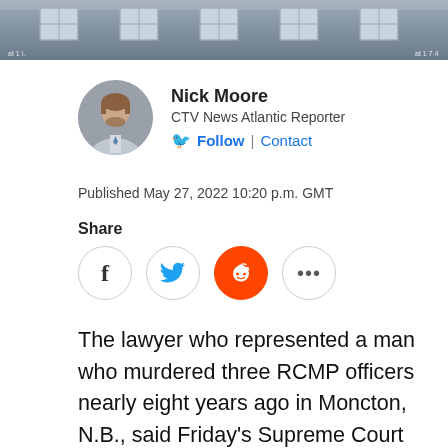[Figure (photo): Top portion of a building facade with windows visible, screenshot from video]
Nick Moore
CTV News Atlantic Reporter
Follow | Contact
Published May 27, 2022 10:20 p.m. GMT
Share
The lawyer who represented a man who murdered three RCMP officers nearly eight years ago in Moncton, N.B., said Friday's Supreme Court decision, striking down consecutive periods of parole ineligibility in cases of multiple first degree murders, may potentially change his sentence.